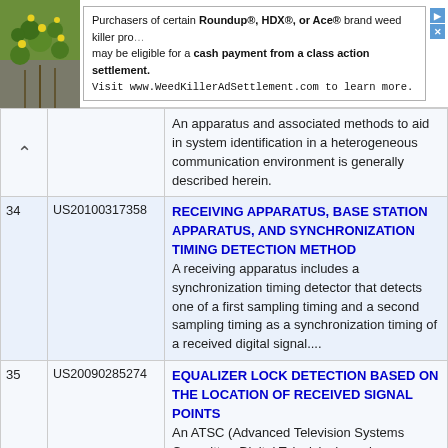[Figure (screenshot): Advertisement banner for WeedKillerAdSettlement.com showing a plant image and text about Roundup, HDX, or Ace brand weed killer products class action settlement]
|  |  |  |
| --- | --- | --- |
| ^ |  | An apparatus and associated methods to aid in system identification in a heterogeneous communication environment is generally described herein. |
| 34 | US20100317358 | RECEIVING APPARATUS, BASE STATION APPARATUS, AND SYNCHRONIZATION TIMING DETECTION METHOD
A receiving apparatus includes a synchronization timing detector that detects one of a first sampling timing and a second sampling timing as a synchronization timing of a received digital signal.... |
| 35 | US20090285274 | EQUALIZER LOCK DETECTION BASED ON THE LOCATION OF RECEIVED SIGNAL POINTS
An ATSC (Advanced Television Systems Committee-Digital Television) receiver comprises an equalizer and a lock detector. The equalizer provides a sequence of |